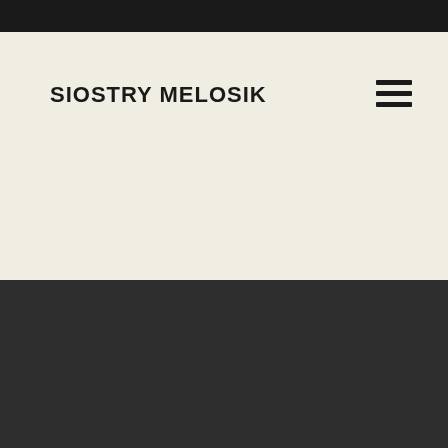SIOSTRY MELOSIK
Serwis korzysta z plików cookies. Zapoznaj się z naszą Polityką plików cookies w której informujemy o celu używanych przez nas cookies. Jeśli klikniesz Akceptuj - zgadzasz się na instalację plików cookies w Twoim urządzeniu w celu dostosowania do Twoich potrzeb.
Akceptuj